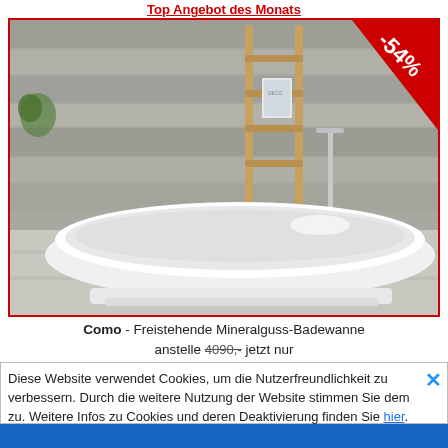Top Angebot des Monats
[Figure (photo): Freistehende Mineralguss-Badewanne Como in einem modernen Badezimmer mit Holzleiter und Badewannenarmatur. Rotes Rabattband mit -54% in der oberen rechten Ecke.]
Como - Freistehende Mineralguss-Badewanne anstelle 4090,- jetzt nur 1850,- CHF inkl. MWSt.
Diese Website verwendet Cookies, um die Nutzerfreundlichkeit zu verbessern. Durch die weitere Nutzung der Website stimmen Sie dem zu. Weitere Infos zu Cookies und deren Deaktivierung finden Sie hier.